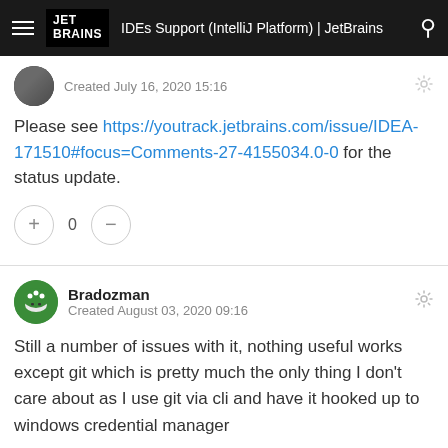IDEs Support (IntelliJ Platform) | JetBrains
Created July 16, 2020 15:16
Please see https://youtrack.jetbrains.com/issue/IDEA-171510#focus=Comments-27-4155034.0-0 for the status update.
Bradozman
Created August 03, 2020 09:16
Still a number of issues with it, nothing useful works except git which is pretty much the only thing I don't care about as I use git via cli and have it hooked up to windows credential manager